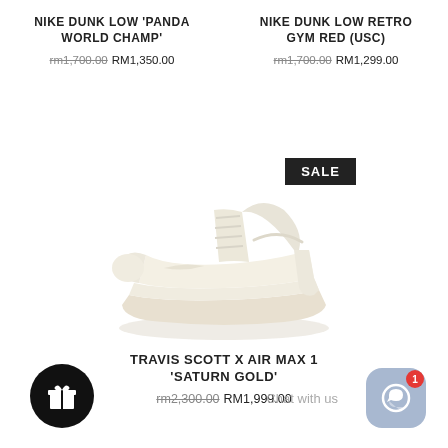NIKE DUNK LOW 'PANDA WORLD CHAMP'
rm1,700.00 RM1,350.00
NIKE DUNK LOW RETRO GYM RED (USC)
rm1,700.00 RM1,299.00
[Figure (photo): Cream/off-white sneaker (Travis Scott x Air Max 1 Saturn Gold) viewed from the side, with a SALE badge]
TRAVIS SCOTT X AIR MAX 1 'SATURN GOLD'
rm2,300.00 RM1,999.00